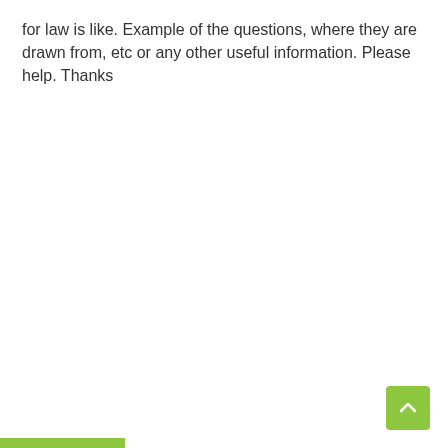for law is like. Example of the questions, where they are drawn from, etc or any other useful information. Please help. Thanks